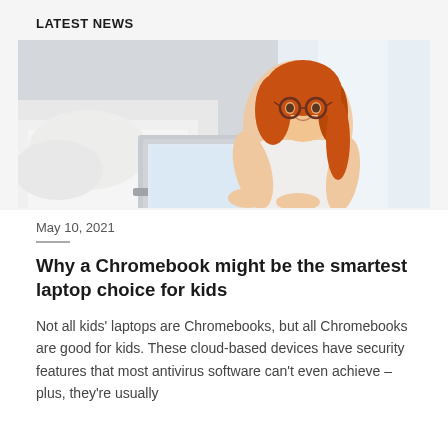LATEST NEWS
[Figure (photo): A young red-haired girl wearing round glasses using a laptop, lying on a white bed near a bright window]
May 10, 2021
Why a Chromebook might be the smartest laptop choice for kids
Not all kids' laptops are Chromebooks, but all Chromebooks are good for kids. These cloud-based devices have security features that most antivirus software can't even achieve – plus, they're usually